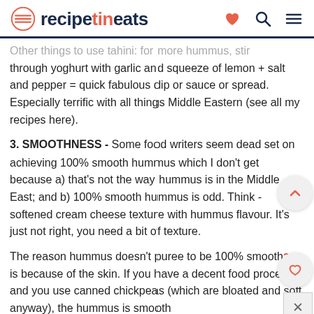recipetineats
Other things to use tahini: for more hummus, stir through yoghurt with garlic and squeeze of lemon + salt and pepper = quick fabulous dip or sauce or spread. Especially terrific with all things Middle Eastern (see all my recipes here).
3. SMOOTHNESS - Some food writers seem dead set on achieving 100% smooth hummus which I don't get because a) that's not the way hummus is in the Middle East; and b) 100% smooth hummus is odd. Think - softened cream cheese texture with hummus flavour. It's just not right, you need a bit of texture.
The reason hummus doesn't puree to be 100% smooth is because of the skin. If you have a decent food processor and you use canned chickpeas (which are bloated and soft anyway), the hummus is smooth enough.
But for even smoother hummus, you can either...